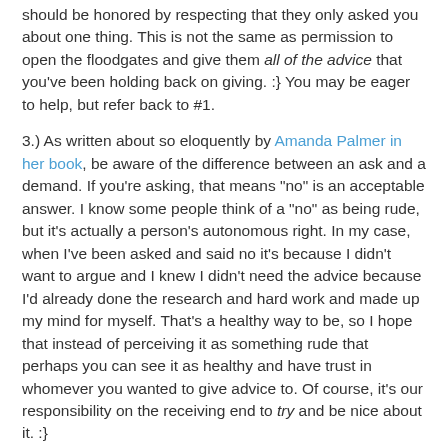should be honored by respecting that they only asked you about one thing. This is not the same as permission to open the floodgates and give them all of the advice that you've been holding back on giving. :} You may be eager to help, but refer back to #1.
3.) As written about so eloquently by Amanda Palmer in her book, be aware of the difference between an ask and a demand. If you're asking, that means "no" is an acceptable answer. I know some people think of a "no" as being rude, but it's actually a person's autonomous right. In my case, when I've been asked and said no it's because I didn't want to argue and I knew I didn't need the advice because I'd already done the research and hard work and made up my mind for myself. That's a healthy way to be, so I hope that instead of perceiving it as something rude that perhaps you can see it as healthy and have trust in whomever you wanted to give advice to. Of course, it's our responsibility on the receiving end to try and be nice about it. :}
4.) Check your information first. Just because you think something is true doesn't mean that it is, and blurting out